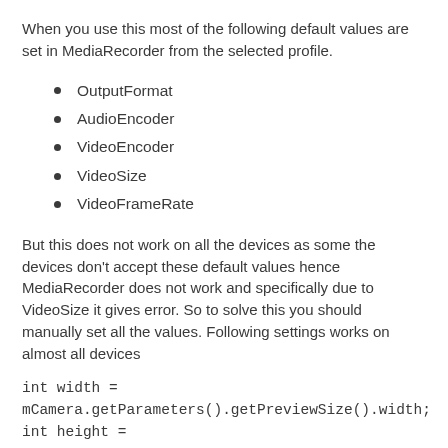When you use this most of the following default values are set in MediaRecorder from the selected profile.
OutputFormat
AudioEncoder
VideoEncoder
VideoSize
VideoFrameRate
But this does not work on all the devices as some the devices don't accept these default values hence MediaRecorder does not work and specifically due to VideoSize it gives error. So to solve this you should manually set all the values. Following settings works on almost all devices
int width =
mCamera.getParameters().getPreviewSize().width;
int height =